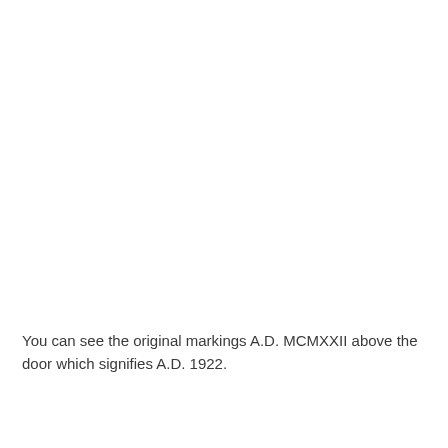You can see the original markings A.D. MCMXXII above the door which signifies A.D. 1922.